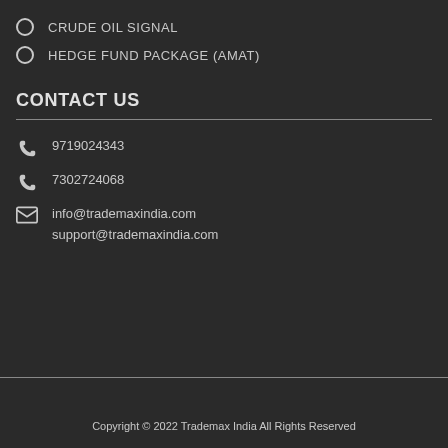CRUDE OIL SIGNAL
HEDGE FUND PACKAGE (AMAT)
CONTACT US
9719024343
7302724068
info@trademaxindia.com
support@trademaxindia.com
Copyright © 2022 Trademax India All Rights Reserved